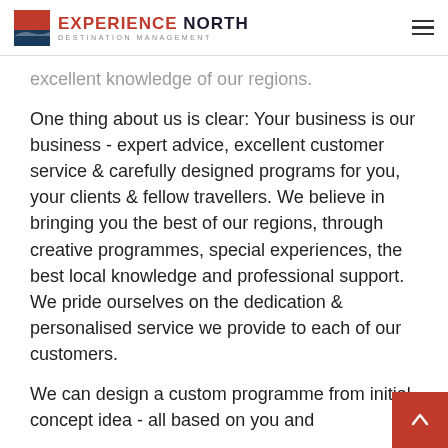EXPERIENCE NORTH — DESTINATION MANAGEMENT
excellent knowledge of our regions.
One thing about us is clear: Your business is our business - expert advice, excellent customer service & carefully designed programs for you, your clients & fellow travellers. We believe in bringing you the best of our regions, through creative programmes, special experiences, the best local knowledge and professional support. We pride ourselves on the dedication & personalised service we provide to each of our customers.
We can design a custom programme from initial concept idea - all based on you and